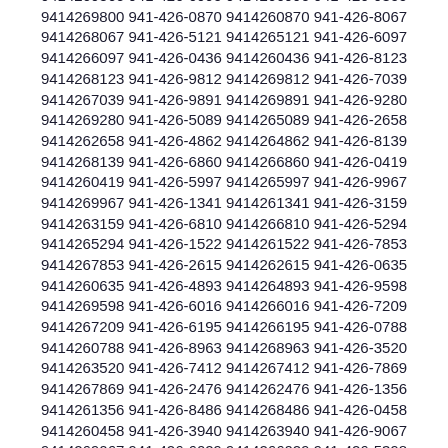9414261538 941-426-4608 9414264608 941-426-9560 9414269560 941-426-6990 9414266990 941-426-9800 9414269800 941-426-0870 9414260870 941-426-8067 9414268067 941-426-5121 9414265121 941-426-6097 9414266097 941-426-0436 9414260436 941-426-8123 9414268123 941-426-9812 9414269812 941-426-7039 9414267039 941-426-9891 9414269891 941-426-9280 9414269280 941-426-5089 9414265089 941-426-2658 9414262658 941-426-4862 9414264862 941-426-8139 9414268139 941-426-6860 9414266860 941-426-0419 9414260419 941-426-5997 9414265997 941-426-9967 9414269967 941-426-1341 9414261341 941-426-3159 9414263159 941-426-6810 9414266810 941-426-5294 9414265294 941-426-1522 9414261522 941-426-7853 9414267853 941-426-2615 9414262615 941-426-0635 9414260635 941-426-4893 9414264893 941-426-9598 9414269598 941-426-6016 9414266016 941-426-7209 9414267209 941-426-6195 9414266195 941-426-0788 9414260788 941-426-8963 9414268963 941-426-3520 9414263520 941-426-7412 9414267412 941-426-7869 9414267869 941-426-2476 9414262476 941-426-1356 9414261356 941-426-8486 9414268486 941-426-0458 9414260458 941-426-3940 9414263940 941-426-9067 9414269067 941-426-6029 9414266029 941-426-5398 9414265398 941-426-0286 9414260286 941-426-7702